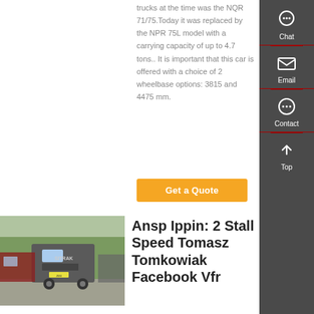trucks at the time was the NQR 71/75.Today it was replaced by the NPR 75L model with a carrying capacity of up to 4.7 tons.. It is important that this car is offered with a choice of 2 wheelbase options: 3815 and 4475 mm.
Get a Quote
[Figure (photo): Several Sitrak trucks parked in a yard with trees in the background]
Ansp Ippin: 2 Stall Speed Tomasz Tomkowiak Facebook Vfr